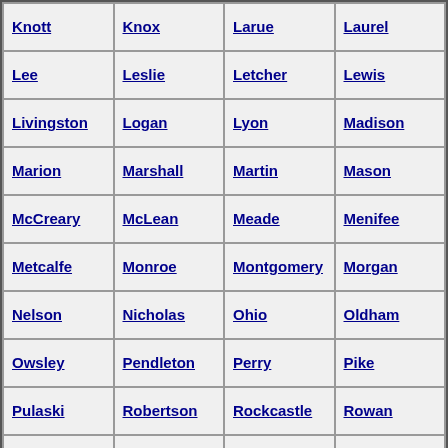| Knott | Knox | Larue | Laurel |
| Lee | Leslie | Letcher | Lewis |
| Livingston | Logan | Lyon | Madison |
| Marion | Marshall | Martin | Mason |
| McCreary | McLean | Meade | Menifee |
| Metcalfe | Monroe | Montgomery | Morgan |
| Nelson | Nicholas | Ohio | Oldham |
| Owsley | Pendleton | Perry | Pike |
| Pulaski | Robertson | Rockcastle | Rowan |
| Scott | Shelby | Simpson | Spencer |
| Todd | Trigg | Trimble | Union |
| Washington | Wayne | Webster | Whitley |
| Woodford |  |  |  |